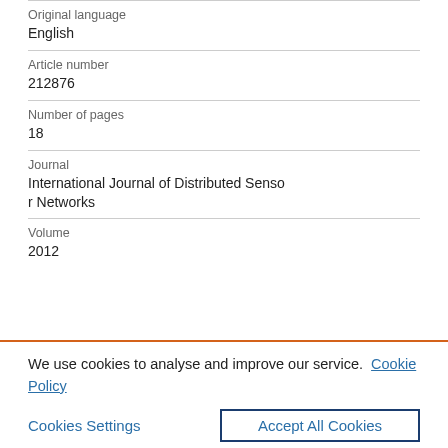Original language
English
Article number
212876
Number of pages
18
Journal
International Journal of Distributed Sensor Networks
Volume
2012
We use cookies to analyse and improve our service. Cookie Policy
Cookies Settings
Accept All Cookies